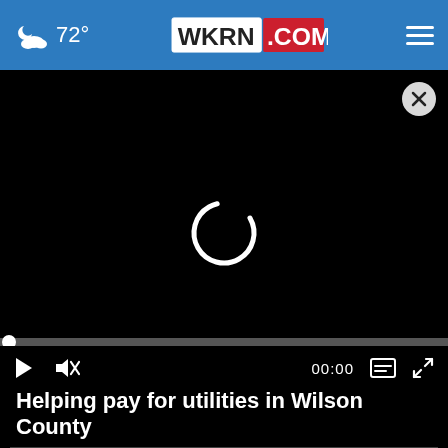72° WKRN.COM
[Figure (screenshot): Video player with black screen showing a loading spinner (circular arc), progress bar at bottom, and video controls including play button, mute button, timestamp 00:00, captions button, and fullscreen button. A close (X) button appears in the top-right corner.]
Helping pay for utilities in Wilson County